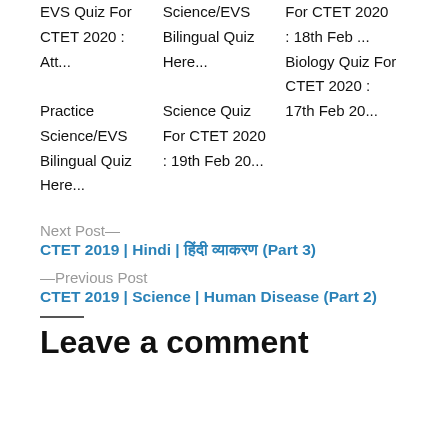EVS Quiz For CTET 2020 : Att...  Practice Science/EVS Bilingual Quiz Here...  Science/EVS Bilingual Quiz Here...  Science Quiz For CTET 2020 : 19th Feb 20...  For CTET 2020 : 18th Feb ...  Biology Quiz For CTET 2020 : 17th Feb 20...
Next Post—
CTET 2019 | Hindi | हिंदी व्याकरण (Part 3)
—Previous Post
CTET 2019 | Science | Human Disease (Part 2)
Leave a comment